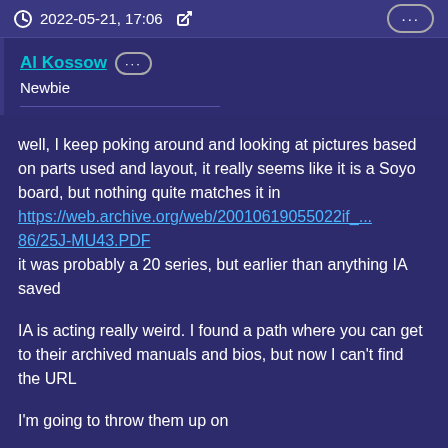2022-05-21, 17:06
Al Kossow
Newbie
well, I keep poking around and looking at pictures based on parts used and layout, it really seems like it is a Soyo board, but nothing quite matches it in https://web.archive.org/web/20010619055022if_...86/25J-MU43.PDF
it was probably a 20 series, but earlier than anything IA saved
IA is acting really weird. I found a path where you can get to their archived manuals and bios, but now I can't find the URL
I'm going to throw them up on